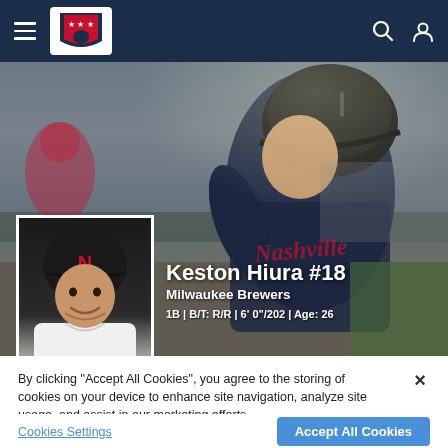Minor League Baseball navigation bar with hamburger menu, MiLB logo, search and user icons
[Figure (photo): Action photo of Keston Hiura batting in a Nashville Sounds uniform with helmet on, blurred stadium background in dark navy tones]
[Figure (photo): Headshot thumbnail of Keston Hiura in Nashville Sounds white uniform with red N cap, smiling]
Keston Hiura #18
Milwaukee Brewers
1B | B/T: R/R | 6' 0"/202 | Age: 26
By clicking “Accept All Cookies”, you agree to the storing of cookies on your device to enhance site navigation, analyze site usage, and assist in our marketing efforts.
Cookies Settings
Accept All Cookies